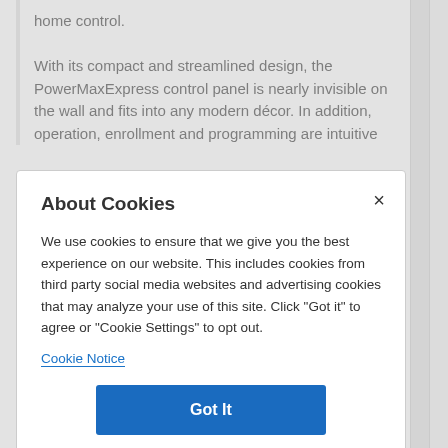home control.

With its compact and streamlined design, the PowerMaxExpress control panel is nearly invisible on the wall and fits into any modern décor. In addition, operation, enrollment and programming are intuitive
About Cookies
We use cookies to ensure that we give you the best experience on our website. This includes cookies from third party social media websites and advertising cookies that may analyze your use of this site. Click "Got it" to agree or "Cookie Settings" to opt out.
Cookie Notice
Got It
Cookies Settings